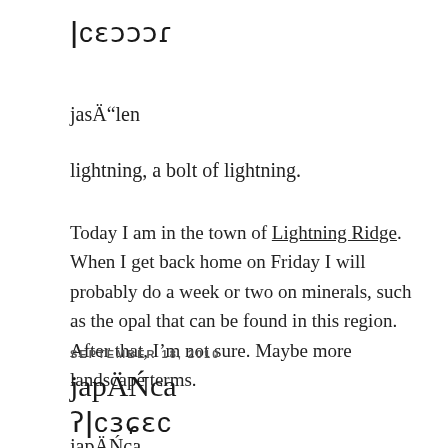ǀcɛɔɔɔɾ
jasÄ"len
lightning, a bolt of lightning.
Today I am in the town of Lightning Ridge. When I get back home on Friday I will probably do a week or two on minerals, such as the opal that can be found in this region. After that, I'm not sure. Maybe more landscape terms.
SEPTEMBER 18, 2010
japÄŃca
ʔǀcɜɕɛc
japÄŃca